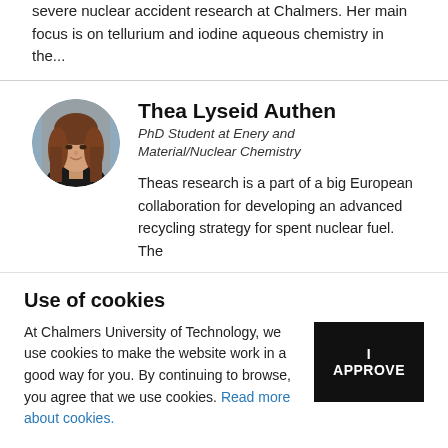severe nuclear accident research at Chalmers. Her main focus is on tellurium and iodine aqueous chemistry in the...
Thea Lyseid Authen
PhD Student at Enery and Material/Nuclear Chemistry
[Figure (photo): Circular profile photo of Thea Lyseid Authen, a woman with long brown hair, smiling, in front of a blurred indoor background.]
Theas research is a part of a big European collaboration for developing an advanced recycling strategy for spent nuclear fuel. The
Use of cookies
At Chalmers University of Technology, we use cookies to make the website work in a good way for you. By continuing to browse, you agree that we use cookies. Read more about cookies.